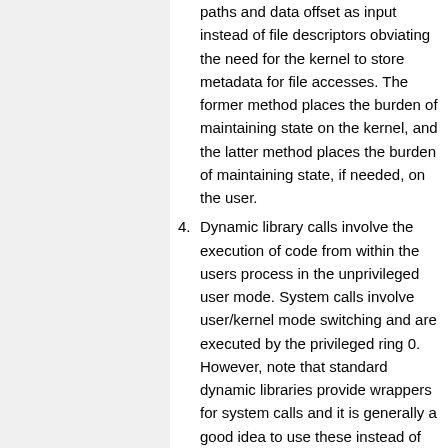paths and data offset as input instead of file descriptors obviating the need for the kernel to store metadata for file accesses. The former method places the burden of maintaining state on the kernel, and the latter method places the burden of maintaining state, if needed, on the user.
4. Dynamic library calls involve the execution of code from within the users process in the unprivileged user mode. System calls involve user/kernel mode switching and are executed by the privileged ring 0. However, note that standard dynamic libraries provide wrappers for system calls and it is generally a good idea to use these instead of system calls